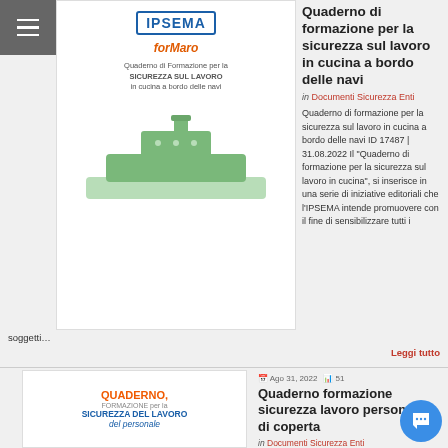[Figure (illustration): Book cover for 'Quaderno di Formazione per la SICUREZZA SUL LAVORO in cucina a bordo delle navi' with IPSEMA and ForMaro logos and a green ship illustration]
Quaderno di formazione per la sicurezza sul lavoro in cucina a bordo delle navi
in Documenti Sicurezza Enti
Quaderno di formazione per la sicurezza sul lavoro in cucina a bordo delle navi ID 17487 | 31.08.2022 Il "Quaderno di formazione per la sicurezza sul lavoro in cucina", si inserisce in una serie di iniziative editoriali che l'IPSEMA intende promuovere con il fine di sensibilizzare tutti i soggetti…
Leggi tutto
[Figure (illustration): Book cover for 'QUADERNO, FORMAZIONE per la SICUREZZA DEL LAVORO del personale' with orange and blue text]
Ago 31, 2022   51
Quaderno formazione sicurezza lavoro personale di coperta
in Documenti Sicurezza Enti
Quaderno di formazione per la